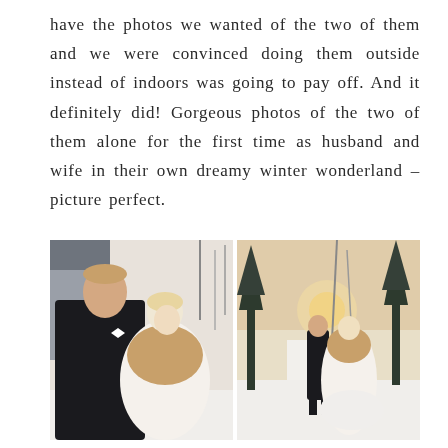have the photos we wanted of the two of them and we were convinced doing them outside instead of indoors was going to pay off. And it definitely did! Gorgeous photos of the two of them alone for the first time as husband and wife in their own dreamy winter wonderland – picture perfect.
[Figure (photo): Two wedding photos side by side in a winter outdoor setting. Left photo: groom in black tuxedo leaning toward bride with short blonde hair wearing a fur stole, snow and barn building in background. Right photo: couple walking away from camera holding hands on a snow-covered path lined with trees at sunset.]